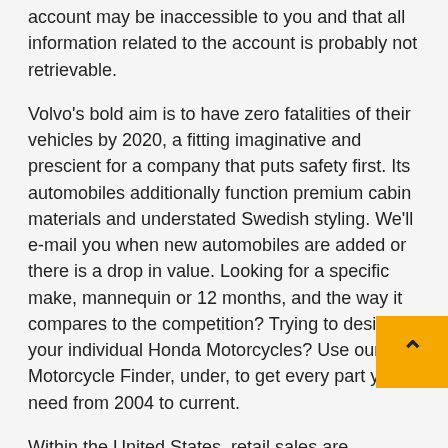account may be inaccessible to you and that all information related to the account is probably not retrievable.
Volvo's bold aim is to have zero fatalities of their vehicles by 2020, a fitting imaginative and prescient for a company that puts safety first. Its automobiles additionally function premium cabin materials and understated Swedish styling. We'll e-mail you when new automobiles are added or there is a drop in value. Looking for a specific make, mannequin or 12 months, and the way it compares to the competition? Trying to design your individual Honda Motorcycles? Use our Motorcycle Finder, under, to get every part you need from 2004 to current.
Within the United States, retail sales are sometimes in items of therms (th); 1 therm = 100,000 BTU. Gasoline gross sales to home shoppers are often in items of hundred customary cubic toes (scf). Gasoline meters measure the quantity of fuel used, and that is transformed to therms by multiplying the amount by the vitality content